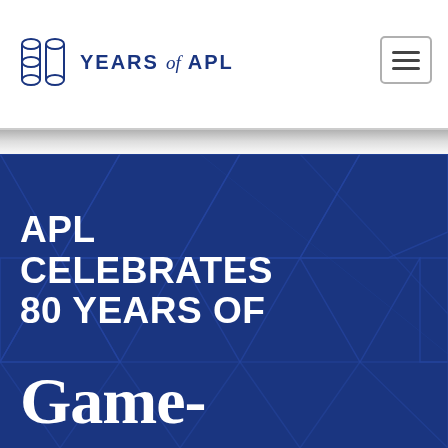80 YEARS of APL
[Figure (logo): 80 Years of APL logo with stylized '80' icon and text 'YEARS of APL' in navy blue, plus hamburger menu button]
APL CELEBRATES 80 YEARS OF Game-
APL CELEBRATES 80 YEARS OF
Game-